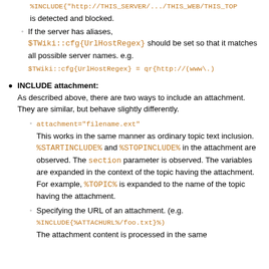%INCLUDE{"http://THIS_SERVER/.../THIS_WEB/THIS_TOP is detected and blocked.
If the server has aliases, $TWiki::cfg{UrlHostRegex} should be set so that it matches all possible server names. e.g.
$TWiki::cfg{UrlHostRegex} = qr{http://(www\.)
INCLUDE attachment:
As described above, there are two ways to include an attachment. They are similar, but behave slightly differently.
attachment="filename.ext"
This works in the same manner as ordinary topic text inclusion. %STARTINCLUDE% and %STOPINCLUDE% in the attachment are observed. The section parameter is observed. The variables are expanded in the context of the topic having the attachment. For example, %TOPIC% is expanded to the name of the topic having the attachment.
Specifying the URL of an attachment. (e.g. %INCLUDE{%ATTACHURL%/foo.txt}%)
The attachment content is processed in the same